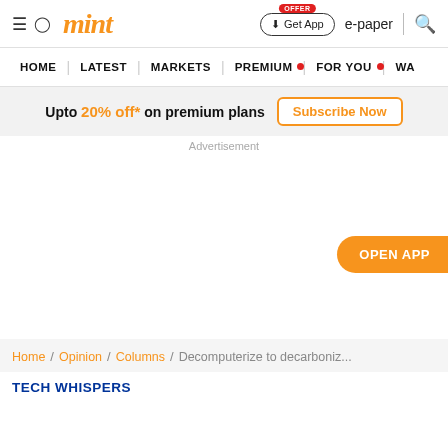mint — Get App | e-paper | search
HOME | LATEST | MARKETS | PREMIUM | FOR YOU | WA
Upto 20% off* on premium plans  Subscribe Now
Advertisement
[Figure (other): Open App button floating on right side]
Home / Opinion / Columns / Decomputerize to decarboniz...
TECH WHISPERS